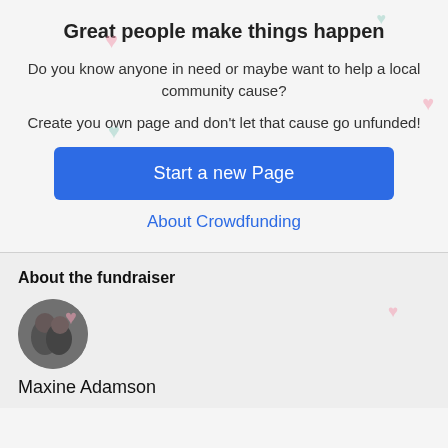Great people make things happen
Do you know anyone in need or maybe want to help a local community cause?
Create you own page and don't let that cause go unfunded!
Start a new Page
About Crowdfunding
About the fundraiser
[Figure (photo): Circular profile photo of two people]
Maxine Adamson